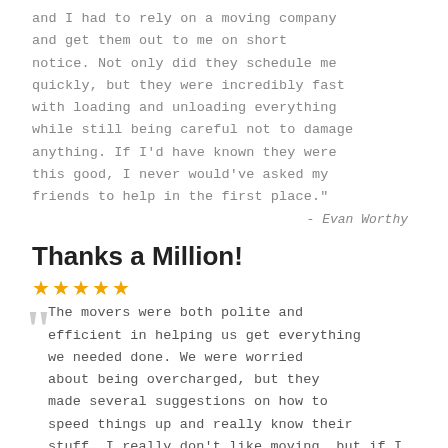and I had to rely on a moving company and get them out to me on short notice. Not only did they schedule me quickly, but they were incredibly fast with loading and unloading everything while still being careful not to damage anything. If I'd have known they were this good, I never would've asked my friends to help in the first place."
- Evan Worthy
Thanks a Million!
★★★★★
The movers were both polite and efficient in helping us get everything we needed done. We were worried about being overcharged, but they made several suggestions on how to speed things up and really know their stuff. I really don't like moving, but if I had to do it again, I'd use these guys!"
- Anthony Bloomberg